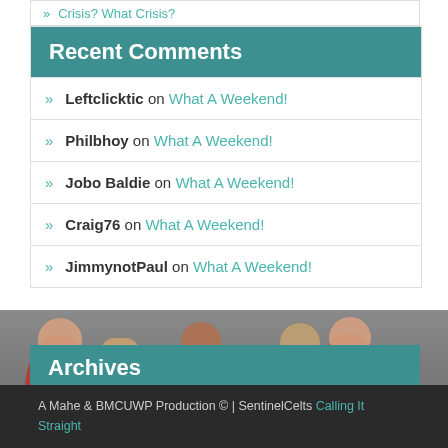» Crisis? What Crisis?
Recent Comments
Leftclicktic on What A Weekend!
Philbhoy on What A Weekend!
Jobo Baldie on What A Weekend!
Craig76 on What A Weekend!
JimmynotPaul on What A Weekend!
[Figure (photo): Celtic football players in green and white hooped jerseys (dafabet sponsorship) with red-shirted opponents]
Archives
Select Month
A Mahe & BMCUWP Production © | SentinelCelts Calling It Straight